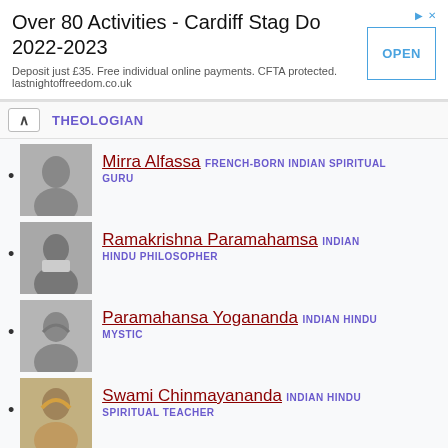[Figure (other): Advertisement banner: Over 80 Activities - Cardiff Stag Do 2022-2023. Deposit just £35. Free individual online payments. CFTA protected. lastnightoffreedom.co.uk. OPEN button.]
THEOLOGIAN
Mirra Alfassa FRENCH-BORN INDIAN SPIRITUAL GURU
Ramakrishna Paramahamsa INDIAN HINDU PHILOSOPHER
Paramahansa Yogananda INDIAN HINDU MYSTIC
Swami Chinmayananda INDIAN HINDU SPIRITUAL TEACHER